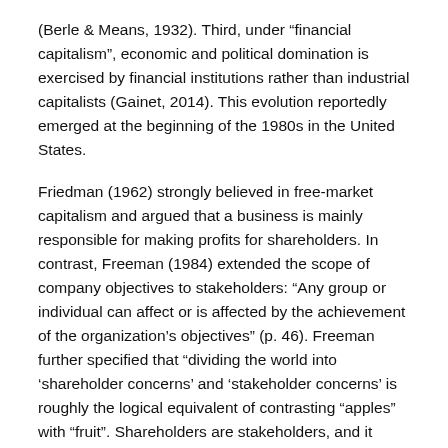(Berle & Means, 1932). Third, under “financial capitalism”, economic and political domination is exercised by financial institutions rather than industrial capitalists (Gainet, 2014). This evolution reportedly emerged at the beginning of the 1980s in the United States.
Friedman (1962) strongly believed in free-market capitalism and argued that a business is mainly responsible for making profits for shareholders. In contrast, Freeman (1984) extended the scope of company objectives to stakeholders: “Any group or individual can affect or is affected by the achievement of the organization’s objectives” (p. 46). Freeman further specified that “dividing the world into ‘shareholder concerns’ and ‘stakeholder concerns’ is roughly the logical equivalent of contrasting “apples” with “fruit”. Shareholders are stakeholders, and it does not get us anywhere to try to contrast the two unless we have an ideological agenda that is served by doing so” (p. 46).